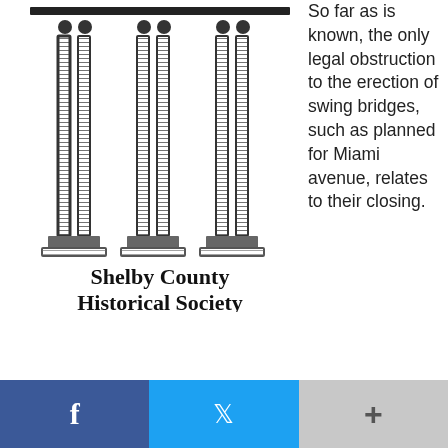[Figure (logo): Shelby County Historical Society logo with Greek columns illustration and text 'Shelby County Historical Society' in handwritten style font]
So far as is known, the only legal obstruction to the erection of swing bridges, such as planned for Miami avenue, relates to their closing. Canal boatmen passing through them are not bound to see them closed, but this duty belongs to the county commissioners. A bridge that becomes defective and fails to swing shut is liable to get those responsible into trouble. However, a bride that will do away with two hills in a level
[Figure (other): Social media sharing bar with Facebook (blue), Twitter (blue), and a '+' more button (gray)]